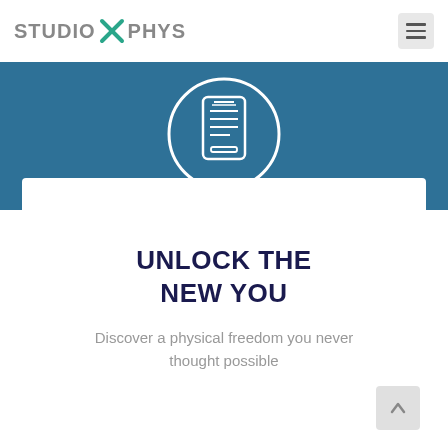[Figure (logo): StudioXPhys logo with teal X mark between STUDIO and PHYS text in gray]
[Figure (illustration): White circular icon with a phone/device symbol on a teal/blue background]
UNLOCK THE NEW YOU
Discover a physical freedom you never thought possible